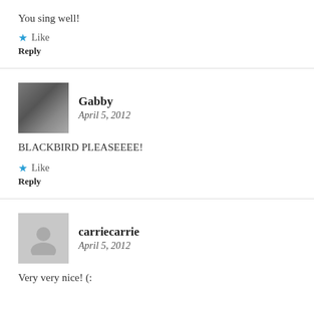You sing well!
★ Like
Reply
Gabby
April 5, 2012
BLACKBIRD PLEASEEEE!
★ Like
Reply
carriecarrie
April 5, 2012
Very very nice! (: